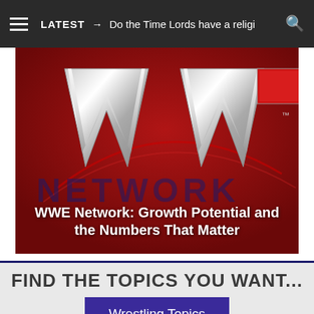LATEST → Do the Time Lords have a religi
[Figure (photo): WWE Network logo on red background with metallic W letters and 'NETWORK' text]
WWE Network: Growth Potential and the Numbers That Matter
FIND THE TOPICS YOU WANT...
Wrestling Topics